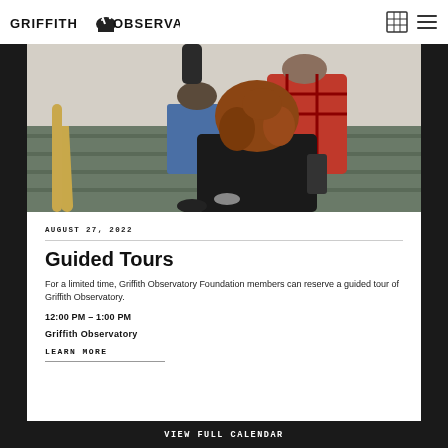GRIFFITH OBSERVATORY
[Figure (photo): People walking up a staircase inside Griffith Observatory, view from behind showing a woman with curly auburn hair in a black hoodie and others ahead on stairs with green steps and gold railing]
AUGUST 27, 2022
Guided Tours
For a limited time, Griffith Observatory Foundation members can reserve a guided tour of Griffith Observatory.
12:00 PM – 1:00 PM
Griffith Observatory
LEARN MORE
VIEW FULL CALENDAR